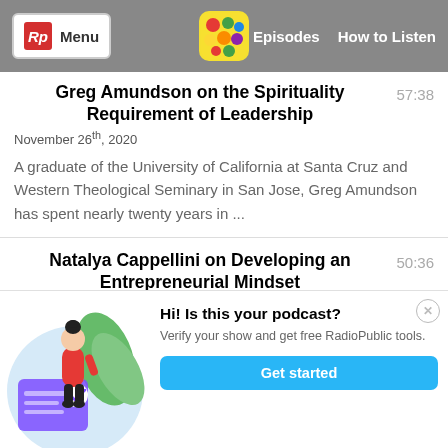Rp Menu | Episodes | How to Listen
Greg Amundson on the Spirituality Requirement of Leadership
57:38
November 26th, 2020
A graduate of the University of California at Santa Cruz and Western Theological Seminary in San Jose, Greg Amundson has spent nearly twenty years in ...
Natalya Cappellini on Developing an Entrepreneurial Mindset
50:36
November 19th, 2020
[Figure (illustration): Illustration of a woman standing next to a large verified document card, with green leaves in background, on a light blue rounded circle background]
Hi! Is this your podcast? Verify your show and get free RadioPublic tools. Get started